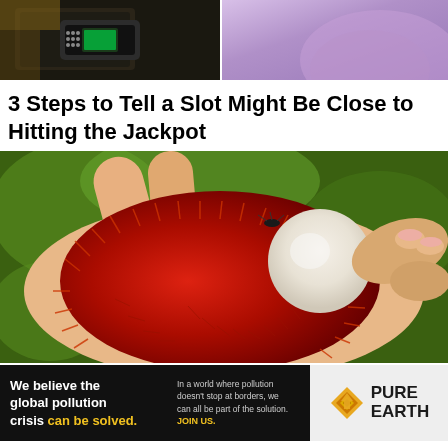[Figure (photo): Top banner with two images side by side: left shows a dark electronic device with a fingerprint scanner with green light, right shows a blurred purple/lavender background with a person's shoulder.]
3 Steps to Tell a Slot Might Be Close to Hitting the Jackpot
[Figure (photo): Close-up photo of a hand holding an open rambutan fruit showing the white fruit inside the spiky red hairy exterior, with green foliage in the background.]
[Figure (photo): Advertisement banner for Pure Earth organization. Left dark section reads: 'We believe the global pollution crisis can be solved.' with 'can be solved.' in yellow. Middle section reads: 'In a world where pollution doesn't stop at borders, we can all be part of the solution. JOIN US.' in small text with JOIN US in yellow. Right section shows Pure Earth logo with diamond/arrow icon and bold text PURE EARTH.]